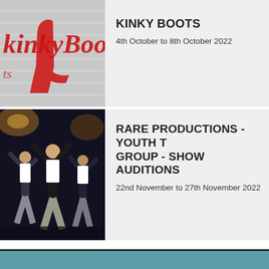[Figure (photo): Kinky Boots promotional image showing the show logo with red stylized text on a grey/white striped background]
KINKY BOOTS
4th October to 8th October 2022
[Figure (photo): Dancers on stage performing, dark background, dancers in white tops and grey/silver trousers with arms raised]
RARE PRODUCTIONS - YOUTH T GROUP - SHOW AUDITIONS
22nd November to 27th November 2022
[Figure (photo): Teal/blue-green background section at the bottom of the page]